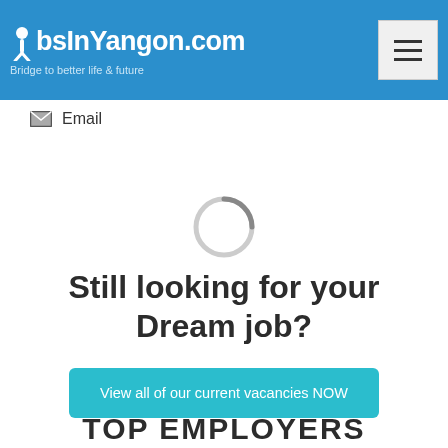JobsInYangon.com — Bridge to better life & future
Email
[Figure (other): Loading spinner circle (partially visible arc)]
Still looking for your Dream job?
View all of our current vacancies NOW
TOP EMPLOYERS